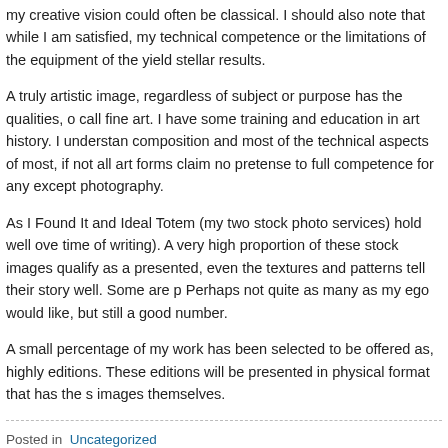my creative vision could often be classical. I should also note that while I am satisfied, my technical competence or the limitations of the equipment of the yield stellar results.
A truly artistic image, regardless of subject or purpose has the qualities, one call fine art. I have some training and education in art history. I understand composition and most of the technical aspects of most, if not all art forms. I claim no pretense to full competence for any except photography.
As I Found It and Ideal Totem (my two stock photo services) hold well over time of writing). A very high proportion of these stock images qualify as a presented, even the textures and patterns tell their story well. Some are Perhaps not quite as many as my ego would like, but still a good number.
A small percentage of my work has been selected to be offered as, highly editions. These editions will be presented in physical format that has the images themselves.
Posted in: Uncategorized
Tags: Accessories Accounting Addictions Advertising Aerospace Affiliate Agricult Auction Audio Auditing Auto Care Auto Services Automobiles Banking Beauty B Business Business Creation Business Development Business Products Business S Classifieds Clothes Clothing Collectibles Collecting Commercial Communication Hardware Computer Repair Construction Cooking Cosmetics Credit Card Credit C Data Communication Defense Dentistry Development Direct Marketing Domain N Education Education Reference Electronic Employment Energy Entertainment